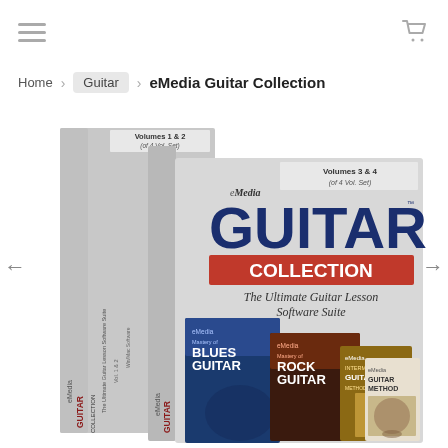[Figure (screenshot): Top navigation bar with hamburger menu icon on left and shopping cart icon on right]
Home > Guitar > eMedia Guitar Collection
[Figure (photo): eMedia Guitar Collection software box set showing two large box packages labeled Volumes 1 & 2 and Volumes 3 & 4 of 4 Vol. Set, featuring the eMedia Guitar Collection - The Ultimate Guitar Lesson Software Suite branding, with smaller product boxes including Blues Guitar, Rock Guitar, Mastering Guitar, and Guitar Method visible in front.]